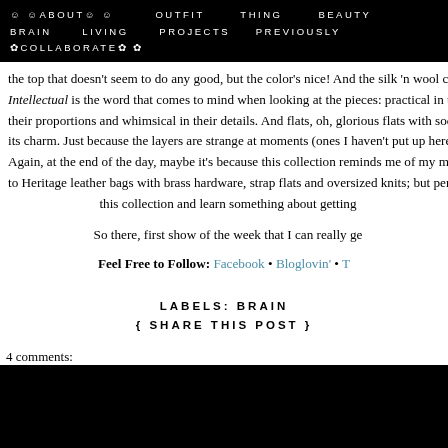☺ ☺ABOUT☺ ☺   OUTFIT   THING   BEAUTY
BRAIN   LIVING   PROJECTS   PREVIOUSLY
✿COLLABORATE✿ ✿
the top that doesn't seem to do any good, but the color's nice! And the silk 'n wool c
Intellectual is the word that comes to mind when looking at the pieces: practical in the
their proportions and whimsical in their details. And flats, oh, glorious flats with sock
its charm. Just because the layers are strange at moments (ones I haven't put up here)
Again, at the end of the day, maybe it's because this collection reminds me of my mom
to Heritage leather bags with brass hardware, strap flats and oversized knits; but perh
this collection and learn something about getting
So there, first show of the week that I can really ge
Feel Free to Follow: Facebook • Bloglovin' • T
LABELS: BRAIN
{ SHARE THIS POST }
4 comments: